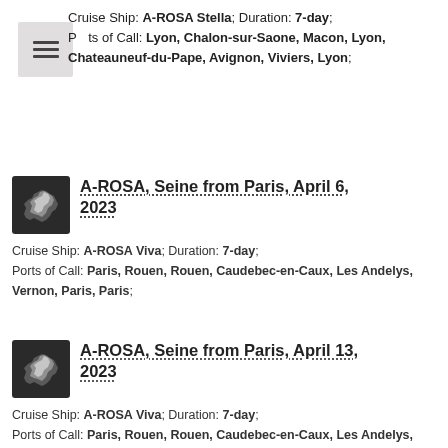Cruise Ship: A-ROSA Stella; Duration: 7-day; Ports of Call: Lyon, Chalon-sur-Saone, Macon, Lyon, Chateauneuf-du-Pape, Avignon, Viviers, Lyon;
A-ROSA, Seine from Paris, April 6, 2023
Cruise Ship: A-ROSA Viva; Duration: 7-day; Ports of Call: Paris, Rouen, Rouen, Caudebec-en-Caux, Les Andelys, Vernon, Paris, Paris;
A-ROSA, Seine from Paris, April 13, 2023
Cruise Ship: A-ROSA Viva; Duration: 7-day; Ports of Call: Paris, Rouen, Rouen, Caudebec-en-Caux, Les Andelys, Vernon, Paris, Paris;